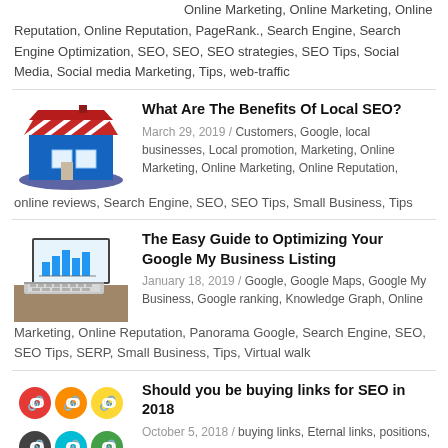Online Marketing, Online Marketing, Online Reputation, Online Reputation, PageRank., Search Engine, Search Engine Optimization, SEO, SEO, SEO strategies, SEO Tips, Social Media, Social media Marketing, Tips, web-traffic
[Figure (illustration): Isometric illustration of a small retail store with red and white striped awning, blue storefront, on a dark blue platform]
What Are The Benefits Of Local SEO?
March 29, 2019 / Customers, Google, local businesses, Local promotion, Marketing, Online Marketing, Online Marketing, Online Reputation, online reviews, Search Engine, SEO, SEO Tips, Small Business, Tips
[Figure (photo): Photo of a laptop keyboard with a chart/graph visible on the laptop screen]
The Easy Guide to Optimizing Your Google My Business Listing
January 18, 2019 / Google, Google Maps, Google My Business, Google ranking, Knowledge Graph, Online Marketing, Online Reputation, Panorama Google, Search Engine, SEO, SEO Tips, SERP, Small Business, Tips, Virtual walk
[Figure (illustration): Grid of six circular link icons in red, orange, yellow, dark gray, teal, green colors]
Should you be buying links for SEO in 2018
October 5, 2018 / buying links, Eternal links, positions,